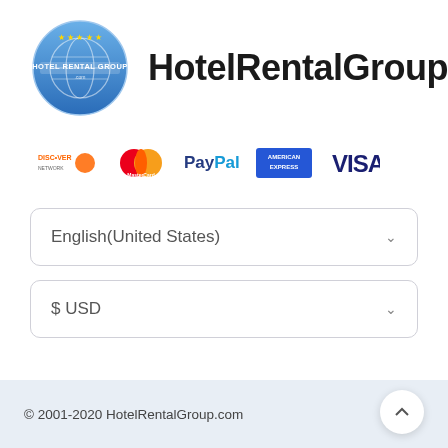[Figure (logo): HotelRentalGroup circular logo with blue background, globe, stars, and text]
HotelRentalGroup
[Figure (infographic): Payment method logos: Discover Network, MasterCard, PayPal, American Express, VISA]
English(United States)
$ USD
© 2001-2020 HotelRentalGroup.com